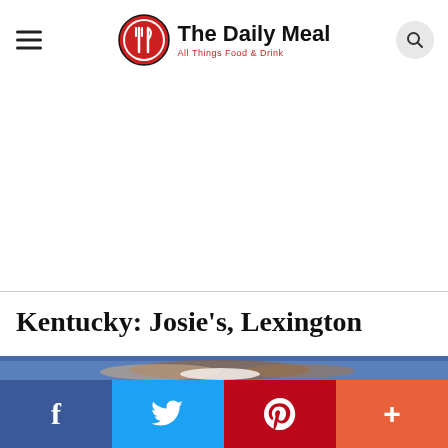The Daily Meal — All Things Food & Drink
[Figure (photo): Advertisement / blank white space area below the header]
Kentucky: Josie's, Lexington
[Figure (photo): Food photo showing a dish with brown toppings and white cream/sauce in a blue bowl, partially visible]
[Figure (other): Social sharing bar with Facebook (blue), Twitter (light blue), Pinterest (red), and More (orange-red) buttons]